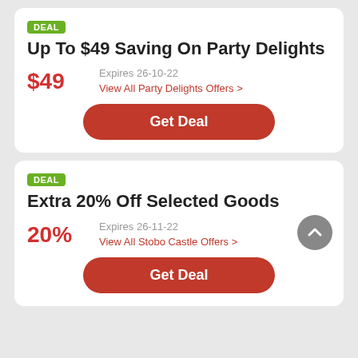Up To $49 Saving On Party Delights
$49
Expires 26-10-22
View All Party Delights Offers >
Get Deal
Extra 20% Off Selected Goods
20%
Expires 26-11-22
View All Stobo Castle Offers >
Get Deal